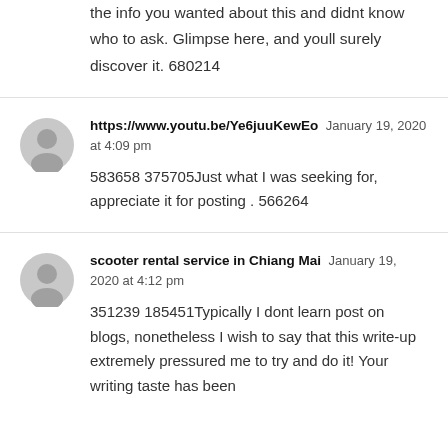the info you wanted about this and didnt know who to ask. Glimpse here, and youll surely discover it. 680214
https://www.youtu.be/Ye6juuKewEo  January 19, 2020 at 4:09 pm
583658 375705Just what I was seeking for, appreciate it for posting . 566264
scooter rental service in Chiang Mai  January 19, 2020 at 4:12 pm
351239 185451Typically I dont learn post on blogs, nonetheless I wish to say that this write-up extremely pressured me to try and do it! Your writing taste has been